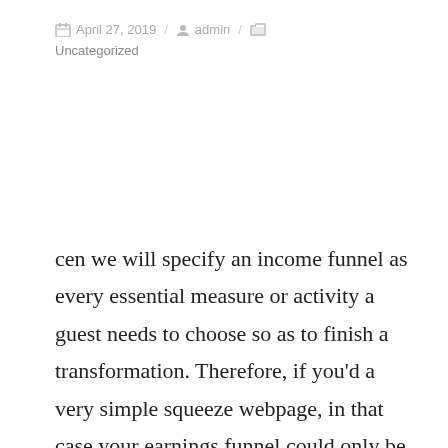April 27, 2019 / admin / Uncategorized
cen we will specify an income funnel as every essential measure or activity a guest needs to choose so as to finish a transformation. Therefore, if you'd a very simple squeeze webpage, in that case your earnings funnel could only be the ad-words or even face-book advertising that drove targeted traffic into the squeeze webpage